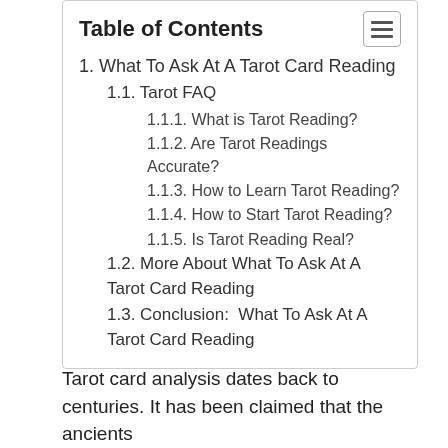Table of Contents
1. What To Ask At A Tarot Card Reading
1.1. Tarot FAQ
1.1.1. What is Tarot Reading?
1.1.2. Are Tarot Readings Accurate?
1.1.3. How to Learn Tarot Reading?
1.1.4. How to Start Tarot Reading?
1.1.5. Is Tarot Reading Real?
1.2. More About What To Ask At A Tarot Card Reading
1.3. Conclusion:  What To Ask At A Tarot Card Reading
Tarot card analysis dates back to centuries. It has been claimed that the ancients